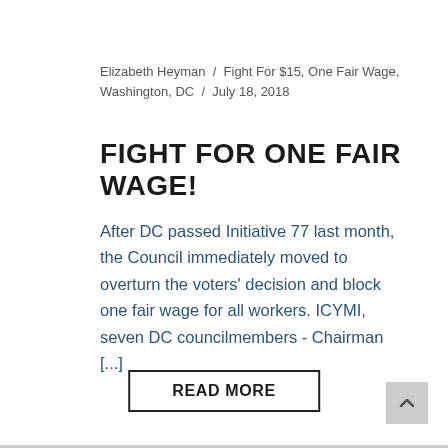Elizabeth Heyman / Fight For $15, One Fair Wage, Washington, DC / July 18, 2018
FIGHT FOR ONE FAIR WAGE!
After DC passed Initiative 77 last month, the Council immediately moved to overturn the voters' decision and block one fair wage for all workers. ICYMI, seven DC councilmembers - Chairman [...]
READ MORE